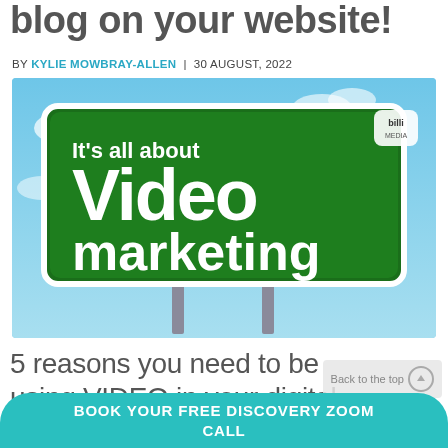blog on your website!
BY KYLIE MOWBRAY-ALLEN | 30 AUGUST, 2022
[Figure (illustration): A highway billboard sign reading 'It's all about Video marketing' against a blue sky background, with a small logo in the top right corner.]
5 reasons you need to be using VIDEO in your digital
Back to the top
BOOK YOUR FREE DISCOVERY ZOOM CALL